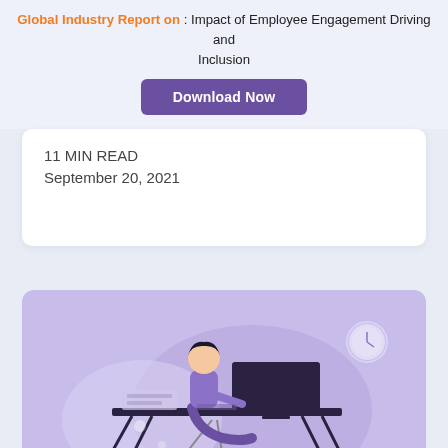Global Industry Report on : Impact of Employee Engagement Driving and Inclusion
Download Now
11 MIN READ
September 20, 2021
[Figure (illustration): Illustration of a person sitting at a desk working on a computer monitor, purple/lavender color scheme, with decorative circular shapes in background]